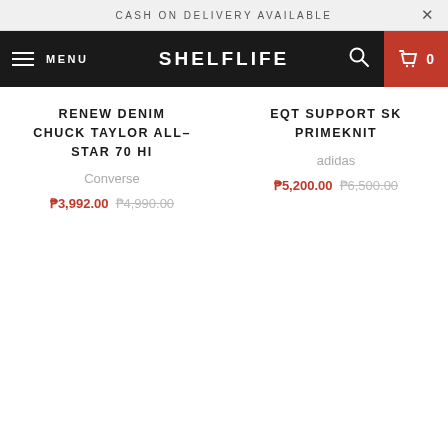CASH ON DELIVERY AVAILABLE
SHELFLIFE — MENU — 0
RENEW DENIM CHUCK TAYLOR ALL-STAR 70 HI
Converse
₱3,992.00 ₱4,990.00
EQT SUPPORT SK PRIMEKNIT
adidas
₱5,200.00 ₱6,500.00